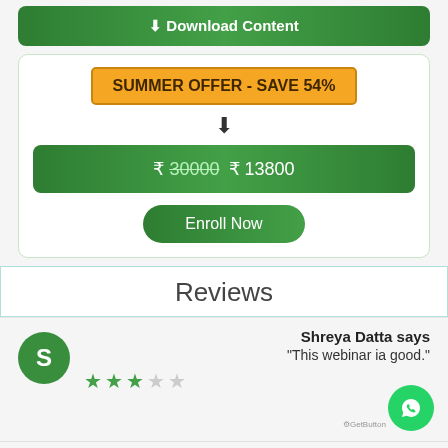Download Content
SUMMER OFFER - SAVE 54%
₹ 30000 ₹ 13800
Enroll Now
Reviews
Shreya Datta says
"This webinar ia good."
Sanoj Kumar says